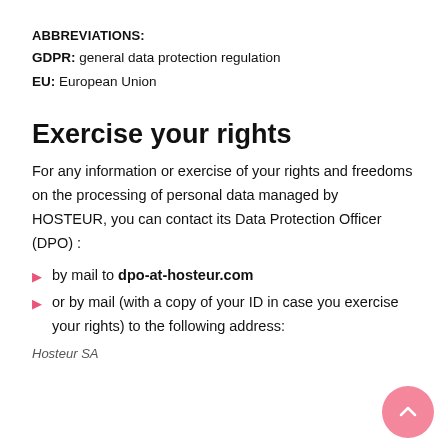ABBREVIATIONS:
GDPR: general data protection regulation
EU: European Union
Exercise your rights
For any information or exercise of your rights and freedoms on the processing of personal data managed by HOSTEUR, you can contact its Data Protection Officer (DPO) :
by mail to dpo-at-hosteur.com
or by mail (with a copy of your ID in case you exercise your rights) to the following address:
Hosteur SA